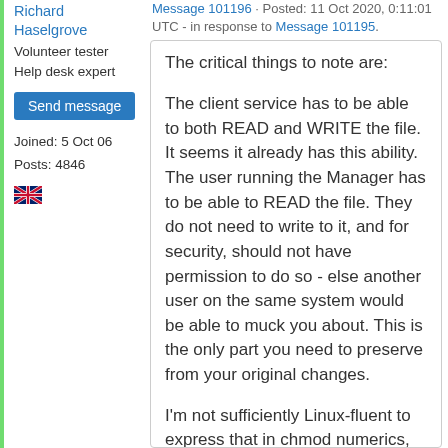Richard Haselgrove
Volunteer tester
Help desk expert
Send message
Joined: 5 Oct 06
Posts: 4846
Message 101196 · Posted: 11 Oct 2020, 0:11:01 UTC - in response to Message 101195.
The critical things to note are:

The client service has to be able to both READ and WRITE the file. It seems it already has this ability. The user running the Manager has to be able to READ the file. They do not need to write to it, and for security, should not have permission to do so - else another user on the same system would be able to muck you about. This is the only part you need to preserve from your original changes.

I'm not sufficiently Linux-fluent to express that in chmod numerics, but that's the principle. The other solution to the permissions conundrum would be for the principal operator to join a group - boinc - which already has the